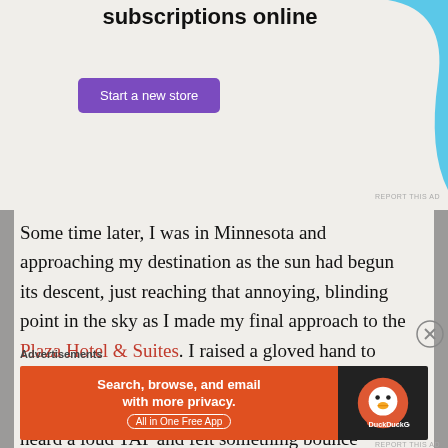[Figure (other): Top advertisement banner with text 'subscriptions online', purple 'Start a new store' button, and cyan abstract shape on right]
Some time later, I was in Minnesota and approaching my destination as the sun had begun its descent, just reaching that annoying, blinding point in the sky as I made my final approach to the Plaza Hotel & Suites. I raised a gloved hand to block the sun while I was still about a half mile out, scanning the road ahead for my turn, when I heard a loud TAP and felt something bounce soundly off my palm. Eh, just a bug, I thought to myself as I continued scanning. Moments later, a
Advertisements
[Figure (other): DuckDuckGo advertisement banner: orange left side with 'Search, browse, and email with more privacy. All in One Free App', dark right side with DuckDuckGo logo]